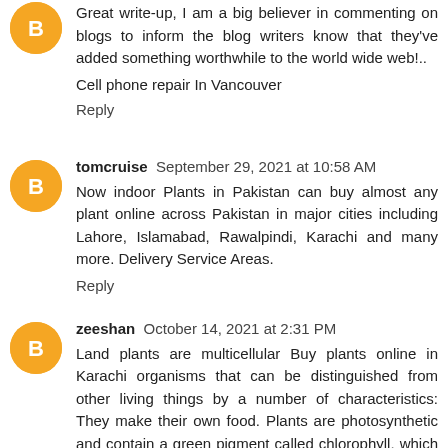Great write-up, I am a big believer in commenting on blogs to inform the blog writers know that they've added something worthwhile to the world wide web!..
Cell phone repair In Vancouver
Reply
tomcruise  September 29, 2021 at 10:58 AM
Now indoor Plants in Pakistan can buy almost any plant online across Pakistan in major cities including Lahore, Islamabad, Rawalpindi, Karachi and many more. Delivery Service Areas.
Reply
zeeshan  October 14, 2021 at 2:31 PM
Land plants are multicellular Buy plants online in Karachi organisms that can be distinguished from other living things by a number of characteristics: They make their own food. Plants are photosynthetic and contain a green pigment called chlorophyll, which enables plants to convert energy